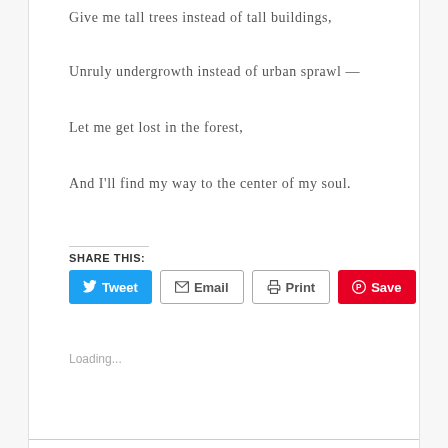Give me tall trees instead of tall buildings,
Unruly undergrowth instead of urban sprawl —
Let me get lost in the forest,
And I'll find my way to the center of my soul.
Share This:
Tweet  Email  Print  Save
Loading...